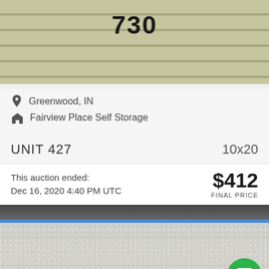[Figure (photo): Photo of a storage unit door numbered 730, olive/tan colored ribbed metal roll-up door]
Greenwood, IN
Fairview Place Self Storage
UNIT 427    10x20
This auction ended:
Dec 16, 2020 4:40 PM UTC
$412
FINAL PRICE
[Figure (photo): Close-up photo of storage unit door numbered 427 with speckled light gray surface and dark curved top edge with blue stripe. Green chat button overlay in lower right.]